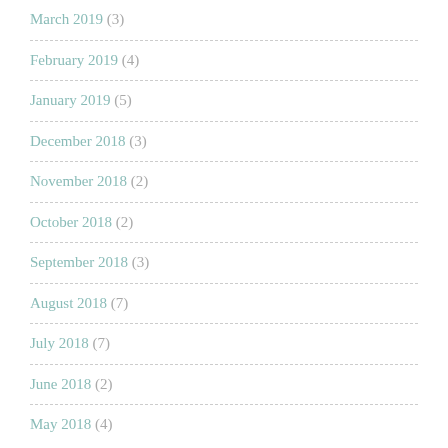March 2019 (3)
February 2019 (4)
January 2019 (5)
December 2018 (3)
November 2018 (2)
October 2018 (2)
September 2018 (3)
August 2018 (7)
July 2018 (7)
June 2018 (2)
May 2018 (4)